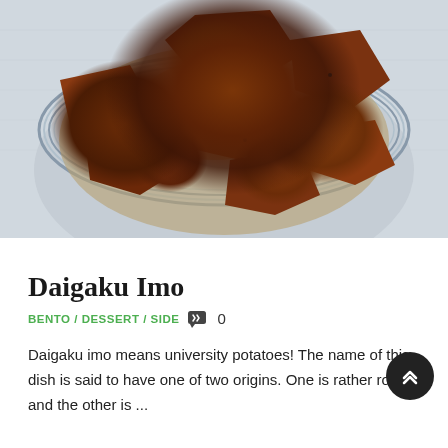[Figure (photo): A blue and white striped ceramic bowl filled with glazed roasted sweet potato chunks (daigaku imo), coated in a dark caramel-soy glaze with black sesame seeds. The bowl is photographed from above on a light wood surface.]
Daigaku Imo
BENTO / DESSERT / SIDE  0
Daigaku imo means university potatoes! The name of this dish is said to have one of two origins. One is rather rom and the other is ...